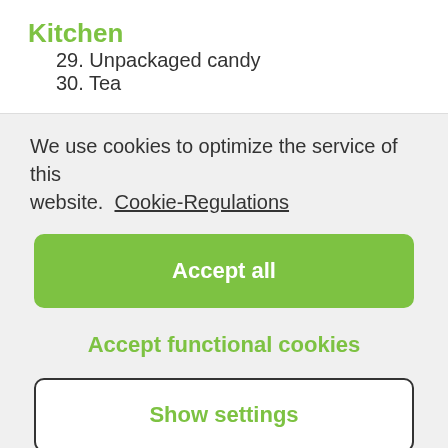Kitchen
29. Unpackaged candy
30. Tea
We use cookies to optimize the service of this website.  Cookie-Regulations
Accept all
Accept functional cookies
Show settings
Other sustainable gift ideas